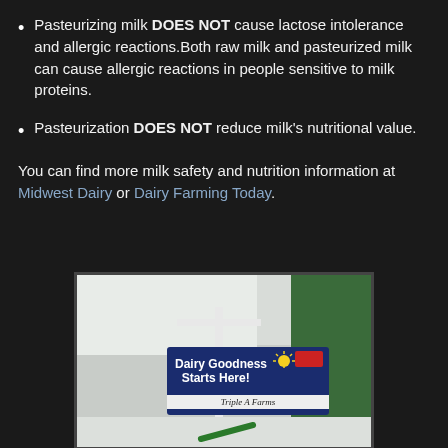Pasteurizing milk DOES NOT cause lactose intolerance and allergic reactions.Both raw milk and pasteurized milk can cause allergic reactions in people sensitive to milk proteins.
Pasteurization DOES NOT reduce milk's nutritional value.
You can find more milk safety and nutrition information at Midwest Dairy or Dairy Farming Today.
[Figure (photo): A farm sign reading 'Dairy Goodness Starts Here!' with 'Triple A Farms' below, mounted on a white post in a snowy winter setting with a green farm building in the background.]